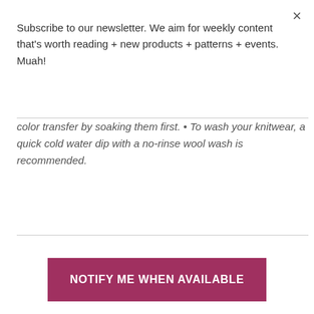×
Subscribe to our newsletter. We aim for weekly content that's worth reading + new products + patterns + events. Muah!
color transfer by soaking them first. • To wash your knitwear, a quick cold water dip with a no-rinse wool wash is recommended.
NOTIFY ME WHEN AVAILABLE